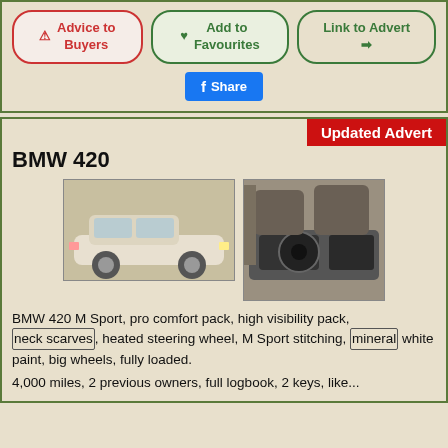[Figure (infographic): Three buttons: Advice to Buyers (red border), Add to Favourites (green border), Link to Advert (green border), plus a Facebook Share button]
[Figure (infographic): Updated Advert badge in red top right corner of car listing]
BMW 420
[Figure (photo): White BMW 420 M Sport exterior shot]
[Figure (photo): BMW 420 interior dashboard and steering wheel shot]
BMW 420 M Sport, pro comfort pack, high visibility pack, neck scarves, heated steering wheel, M Sport stitching, mineral white paint, big wheels, fully loaded.
4,000 miles, 2 previous owners, full logbook, 2 keys, like...